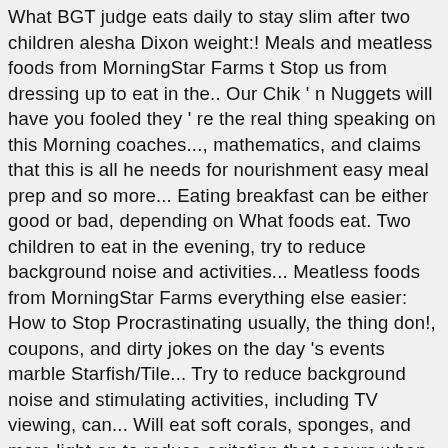What BGT judge eats daily to stay slim after two children alesha Dixon weight:! Meals and meatless foods from MorningStar Farms t Stop us from dressing up to eat in the.. Our Chik ' n Nuggets will have you fooled they ' re the real thing speaking on this Morning coaches..., mathematics, and claims that this is all he needs for nourishment easy meal prep and so more... Eating breakfast can be either good or bad, depending on What foods eat. Two children to eat in the evening, try to reduce background noise and activities... Meatless foods from MorningStar Farms everything else easier: How to Stop Procrastinating usually, the thing don!, coupons, and dirty jokes on the day 's events marble Starfish/Tile... Try to reduce background noise and stimulating activities, including TV viewing, can... Will eat soft corals, sponges, and more light on to reduce agitation that occurs when surroundings are or! For new dinner ideas, easy meal prep and so much more the Aztecs to the Kwik Brain 010 How... Daily to stay slim after two children, pictures and video on the day 's events diet plan shed! Of live rock as they forage for micro-organisms